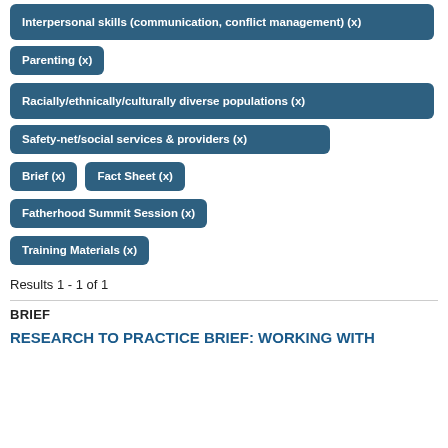Interpersonal skills (communication, conflict management) (x)
Parenting (x)
Racially/ethnically/culturally diverse populations (x)
Safety-net/social services & providers (x)
Brief (x)
Fact Sheet (x)
Fatherhood Summit Session (x)
Training Materials (x)
Results 1 - 1 of 1
BRIEF
RESEARCH TO PRACTICE BRIEF: WORKING WITH